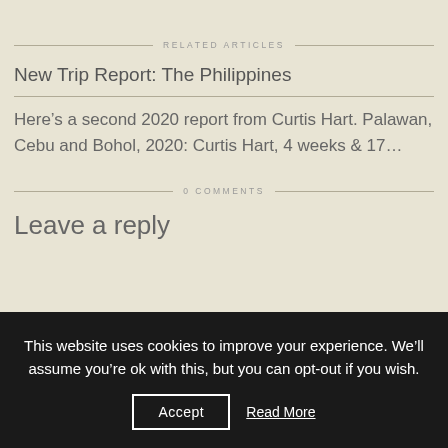RELATED ARTICLES
New Trip Report: The Philippines
Here’s a second 2020 report from Curtis Hart. Palawan, Cebu and Bohol, 2020: Curtis Hart, 4 weeks & 17…
0 COMMENTS
Leave a reply
This website uses cookies to improve your experience. We’ll assume you’re ok with this, but you can opt-out if you wish.
Accept
Read More